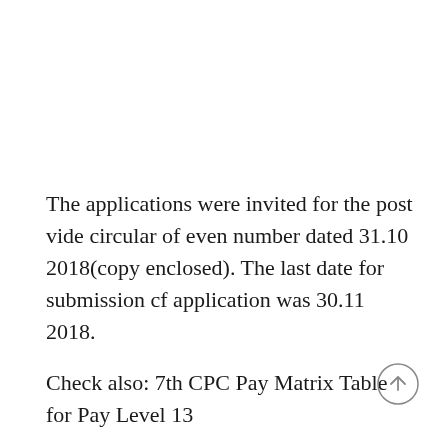The applications were invited for the post vide circular of even number dated 31.10 2018(copy enclosed). The last date for submission cf application was 30.11 2018.
Check also: 7th CPC Pay Matrix Table for Pay Level 13
2. It has been decided to further extend the lest for submission Of application till 04.01.2019.